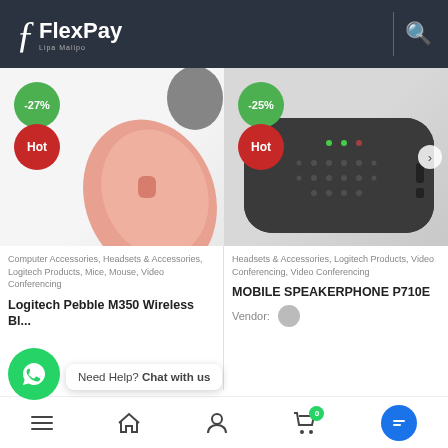FlexPay
[Figure (screenshot): Left product: pink Logitech wireless mouse with -27% green badge and red Hot badge]
Computer Accessories, Headsets & Accessories, Logitech Products, Mice, Mouse, Video Conferencing
Logitech Pebble M350 Wireless Bluetooth...
[Figure (screenshot): Right product: dark Logitech speakerphone with -25% green badge and red Hot badge]
Headsets & Accessories, Logitech Products, Video Conferencing, Video Conferencing
MOBILE SPEAKERPHONE P710E
Vendor:
Need Help? Chat with us
Menu | Home | Account | Cart 0 | Chat